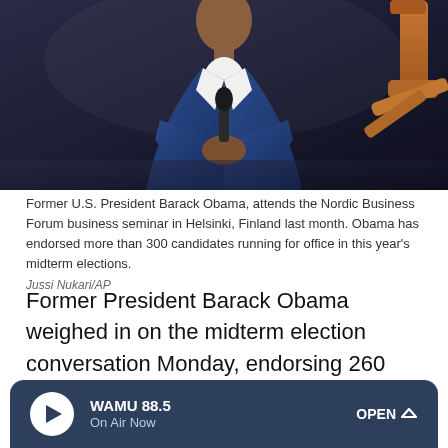[Figure (photo): Former U.S. President Barack Obama holding a microphone at the Nordic Business Forum, wearing a blue suit, with a robotic arm visible in the background.]
Former U.S. President Barack Obama, attends the Nordic Business Forum business seminar in Helsinki, Finland last month. Obama has endorsed more than 300 candidates running for office in this year's midterm elections.
Jussi Nukari/AP
Former President Barack Obama weighed in on the midterm election conversation Monday, endorsing 260 candidates in federal and state races across the country.
WAMU 88.5 On Air Now OPEN ^